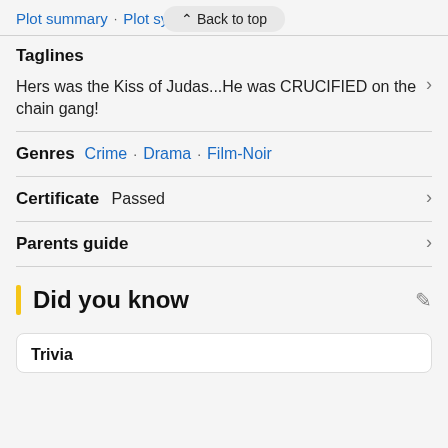Plot summary · Plot synopsis
^ Back to top
Taglines
Hers was the Kiss of Judas...He was CRUCIFIED on the chain gang!
Genres  Crime · Drama · Film-Noir
Certificate  Passed
Parents guide
Did you know
Trivia